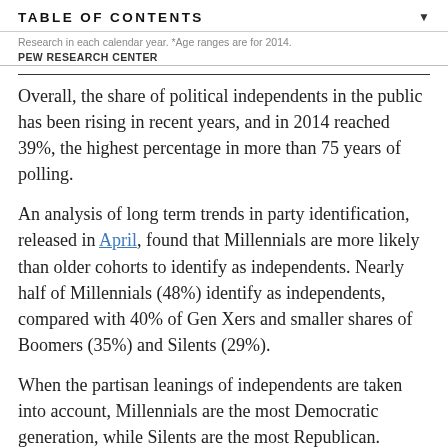TABLE OF CONTENTS
Research in each calendar year. *Age ranges are for 2014.
PEW RESEARCH CENTER
Overall, the share of political independents in the public has been rising in recent years, and in 2014 reached 39%, the highest percentage in more than 75 years of polling.
An analysis of long term trends in party identification, released in April, found that Millennials are more likely than older cohorts to identify as independents. Nearly half of Millennials (48%) identify as independents, compared with 40% of Gen Xers and smaller shares of Boomers (35%) and Silents (29%).
When the partisan leanings of independents are taken into account, Millennials are the most Democratic generation, while Silents are the most Republican.